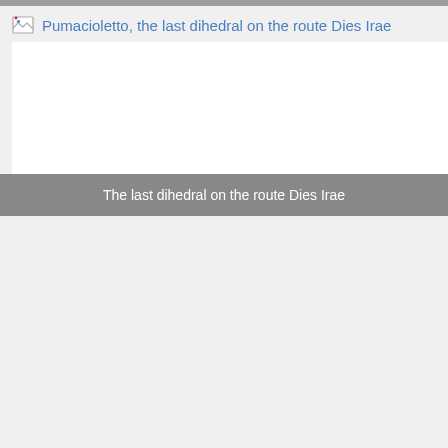[Figure (photo): A broken/missing image placeholder showing a small broken image icon followed by the link text 'Pumacioletto, the last dihedral on the route Dies Irae'. The main image area is white/blank indicating the image failed to load. A gray caption bar overlays the bottom of the image area with white text reading 'The last dihedral on the route Dies Irae'.]
The last dihedral on the route Dies Irae